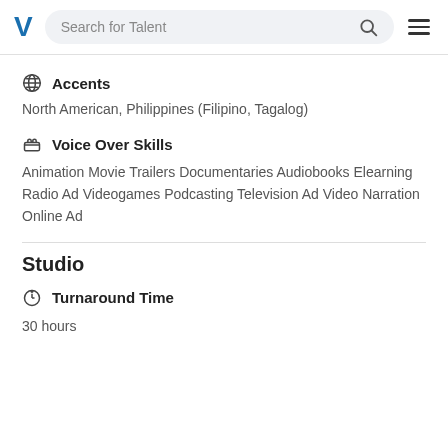Search for Talent
Accents
North American, Philippines (Filipino, Tagalog)
Voice Over Skills
Animation Movie Trailers Documentaries Audiobooks Elearning Radio Ad Videogames Podcasting Television Ad Video Narration Online Ad
Studio
Turnaround Time
30 hours